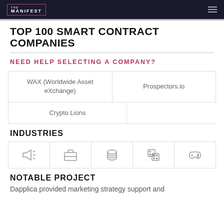THE MANIFEST
TOP 100 SMART CONTRACT COMPANIES
NEED HELP SELECTING A COMPANY?
WAX (Worldwide Asset eXchange)
Prospectors.io
Crypto Lions
INDUSTRIES
[Figure (illustration): Five industry icons: megaphone/marketing, briefcase/business, coins/finance, dice/gambling, game controller/gaming]
NOTABLE PROJECT
Dapplica provided marketing strategy support and